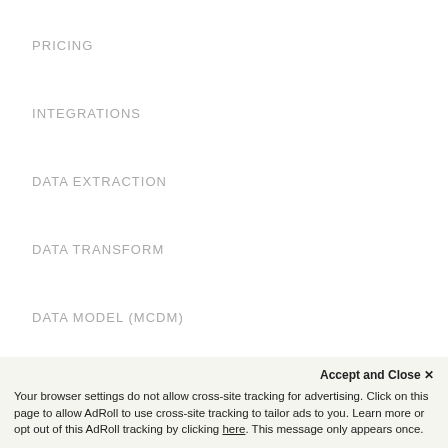PRICING
INTEGRATIONS
DATA EXTRACTION
DATA TRANSFORM
DATA MODEL (MCDM)
CHANGELOG
Resources
Accept and Close ✕
Your browser settings do not allow cross-site tracking for advertising. Click on this page to allow AdRoll to use cross-site tracking to tailor ads to you. Learn more or opt out of this AdRoll tracking by clicking here. This message only appears once.